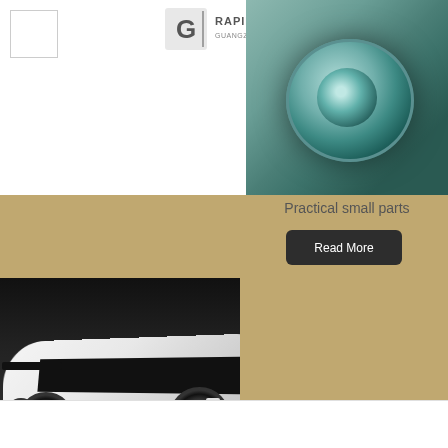[Figure (logo): Small white square placeholder/logo box on the top left]
[Figure (logo): Rapid Prototyping logo with stylized G icon and text 'RAPID PROTOTYPING / GUANGZHOU GAOJIE MODEL']
[Figure (photo): Close-up photograph of a small metallic cylindrical mechanical part with a hollow center, sitting on a brown wooden surface]
Practical small parts
[Figure (other): Dark rounded rectangular button with white text 'Read More']
[Figure (photo): Photograph of a white supercar model/prototype showing the rear quarter panel, tail lights, spoiler, and rear wheel, with a dark background and black racing stripe]